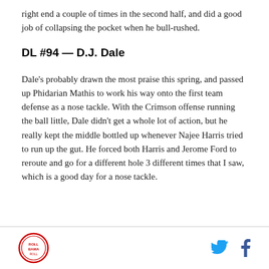right end a couple of times in the second half, and did a good job of collapsing the pocket when he bull-rushed.
DL #94 — D.J. Dale
Dale's probably drawn the most praise this spring, and passed up Phidarian Mathis to work his way onto the first team defense as a nose tackle. With the Crimson offense running the ball little, Dale didn't get a whole lot of action, but he really kept the middle bottled up whenever Najee Harris tried to run up the gut. He forced both Harris and Jerome Ford to reroute and go for a different hole 3 different times that I saw, which is a good day for a nose tackle.
Logo and social media icons